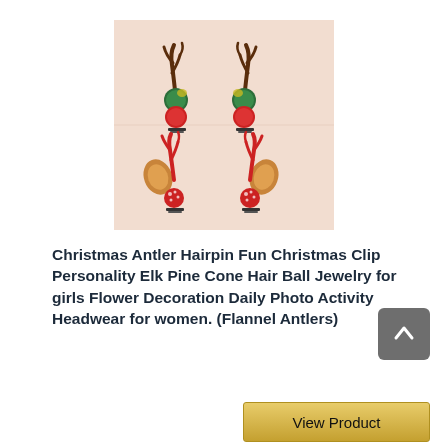[Figure (photo): Two pairs of Christmas antler hairpins on a peach/beige background. Top pair has dark brown antlers with green pine cone balls and red pom-poms. Bottom pair has red antlers with tan/orange ear-like pieces and red dotted ball accents, with metal hair clips.]
Christmas Antler Hairpin Fun Christmas Clip Personality Elk Pine Cone Hair Ball Jewelry for girls Flower Decoration Daily Photo Activity Headwear for women. (Flannel Antlers)